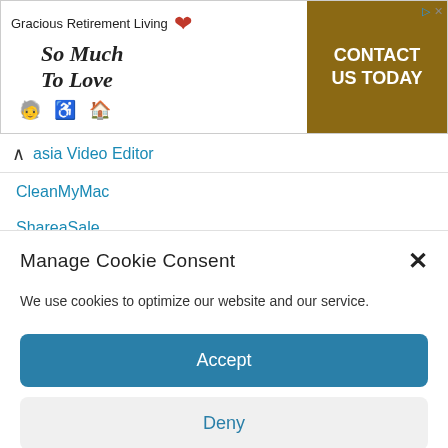[Figure (screenshot): Gracious Retirement Living advertisement banner with tagline 'So Much To Love' and 'CONTACT US TODAY' call-to-action button in gold/brown. Includes accessibility icons.]
asia Video Editor
CleanMyMac
ShareaSale
Manage Cookie Consent
We use cookies to optimize our website and our service.
Accept
Deny
[Figure (screenshot): Bottom advertisement showing Tory Burch Women's Serif-T Stackable Metal Ring, sponsored by MyBag, priced at 115.60 USD. Gold ring image on left.]